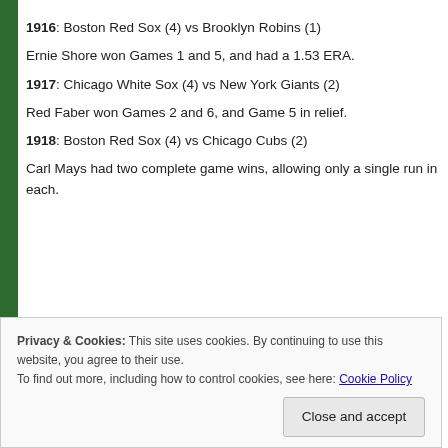1916: Boston Red Sox (4) vs Brooklyn Robins (1)
Ernie Shore won Games 1 and 5, and had a 1.53 ERA.
1917: Chicago White Sox (4) vs New York Giants (2)
Red Faber won Games 2 and 6, and Game 5 in relief.
1918: Boston Red Sox (4) vs Chicago Cubs (2)
Carl Mays had two complete game wins, allowing only a single run in each.
Privacy & Cookies: This site uses cookies. By continuing to use this website, you agree to their use. To find out more, including how to control cookies, see here: Cookie Policy